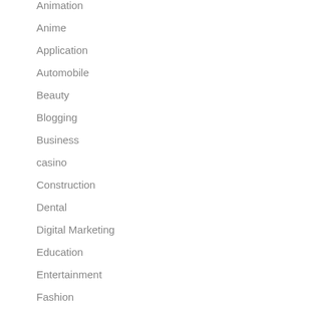Animation
Anime
Application
Automobile
Beauty
Blogging
Business
casino
Construction
Dental
Digital Marketing
Education
Entertainment
Fashion
Finance